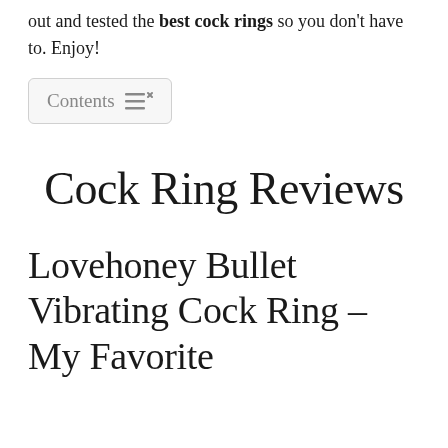out and tested the best cock rings so you don't have to. Enjoy!
Contents
Cock Ring Reviews
Lovehoney Bullet Vibrating Cock Ring – My Favorite